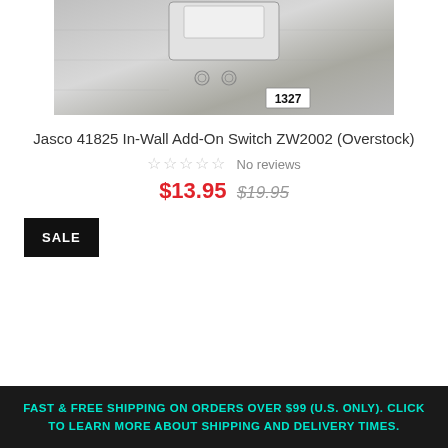[Figure (photo): Photo of Jasco 41825 In-Wall Add-On Switch ZW2002 device showing a metallic panel with buttons and label '1327']
Jasco 41825 In-Wall Add-On Switch ZW2002 (Overstock)
☆☆☆☆☆ No reviews
$13.95  $19.95
SALE
FAST & FREE SHIPPING ON ORDERS OVER $99 (U.S. ONLY). CLICK TO LEARN MORE ABOUT SHIPPING AND DELIVERY TIMES.